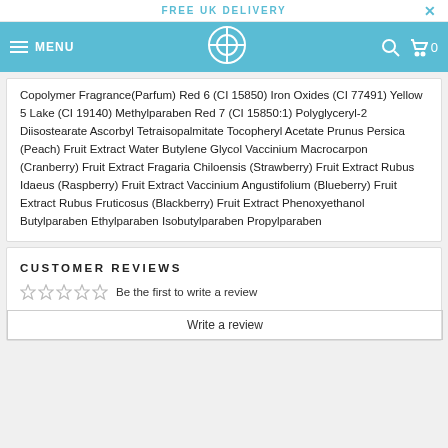FREE UK DELIVERY
Copolymer Fragrance(Parfum) Red 6 (CI 15850) Iron Oxides (CI 77491) Yellow 5 Lake (CI 19140) Methylparaben Red 7 (CI 15850:1) Polyglyceryl-2 Diisostearate Ascorbyl Tetraisopalmitate Tocopheryl Acetate Prunus Persica (Peach) Fruit Extract Water Butylene Glycol Vaccinium Macrocarpon (Cranberry) Fruit Extract Fragaria Chiloensis (Strawberry) Fruit Extract Rubus Idaeus (Raspberry) Fruit Extract Vaccinium Angustifolium (Blueberry) Fruit Extract Rubus Fruticosus (Blackberry) Fruit Extract Phenoxyethanol Butylparaben Ethylparaben Isobutylparaben Propylparaben
CUSTOMER REVIEWS
Be the first to write a review
Write a review